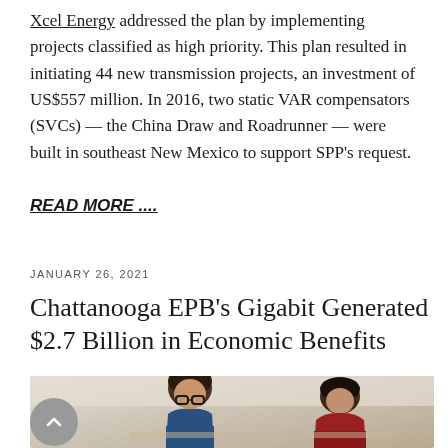Xcel Energy addressed the plan by implementing projects classified as high priority. This plan resulted in initiating 44 new transmission projects, an investment of US$557 million. In 2016, two static VAR compensators (SVCs) — the China Draw and Roadrunner — were built in southeast New Mexico to support SPP's request.
READ MORE ....
JANUARY 26, 2021
Chattanooga EPB's Gigabit Generated $2.7 Billion in Economic Benefits
[Figure (photo): Two people leaning over something, one wearing glasses and a blue shirt, the other in a red hoodie, photographed from above/side angle in a light-colored room.]